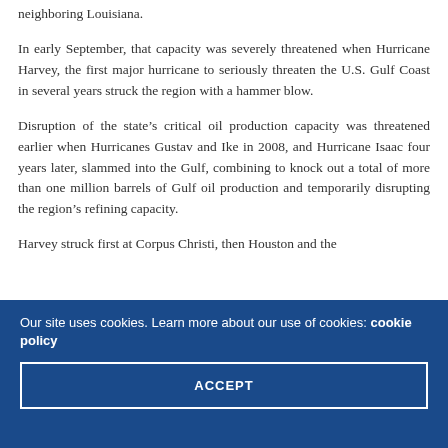neighboring Louisiana.
In early September, that capacity was severely threatened when Hurricane Harvey, the first major hurricane to seriously threaten the U.S. Gulf Coast in several years struck the region with a hammer blow.
Disruption of the state’s critical oil production capacity was threatened earlier when Hurricanes Gustav and Ike in 2008, and Hurricane Isaac four years later, slammed into the Gulf, combining to knock out a total of more than one million barrels of Gulf oil production and temporarily disrupting the region’s refining capacity.
Harvey struck first at Corpus Christi, then Houston and the
Our site uses cookies. Learn more about our use of cookies: cookie policy
ACCEPT